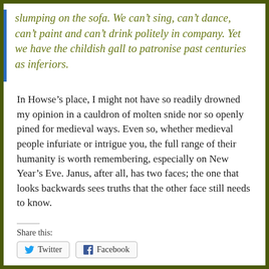slumping on the sofa. We can't sing, can't dance, can't paint and can't drink politely in company. Yet we have the childish gall to patronise past centuries as inferiors.
In Howse's place, I might not have so readily drowned my opinion in a cauldron of molten snide nor so openly pined for medieval ways. Even so, whether medieval people infuriate or intrigue you, the full range of their humanity is worth remembering, especially on New Year's Eve. Janus, after all, has two faces; the one that looks backwards sees truths that the other face still needs to know.
Share this:
Twitter  Facebook